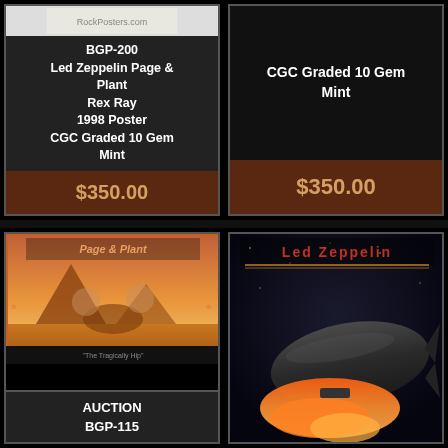[Figure (photo): RockPosters.com watermarked poster thumbnail at top of card]
BGP-200
Led Zeppelin Page & Plant
Rex Ray
1998 Poster
CGC Graded 10 Gem Mint
$350.00
CGC Graded 10 Gem Mint
$350.00
[Figure (photo): Page & Plant concert poster showing two figures with Egyptian pyramids and sphinx motif]
AUCTION
BGP-115
[Figure (photo): Led Zeppelin album/product image with blimp/zeppelin against space/cosmic background]